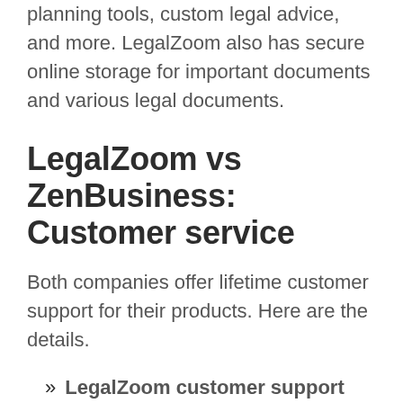planning tools, custom legal advice, and more. LegalZoom also has secure online storage for important documents and various legal documents.
LegalZoom vs ZenBusiness: Customer service
Both companies offer lifetime customer support for their products. Here are the details.
» LegalZoom customer support can be reached by email or phone. Their available